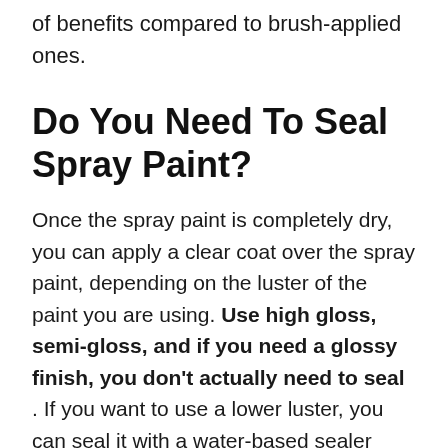of benefits compared to brush-applied ones.
Do You Need To Seal Spray Paint?
Once the spray paint is completely dry, you can apply a clear coat over the spray paint, depending on the luster of the paint you are using. Use high gloss, semi-gloss, and if you need a glossy finish, you don't actually need to seal . If you want to use a lower luster, you can seal it with a water-based sealer such as Minwax Polyacrylic.